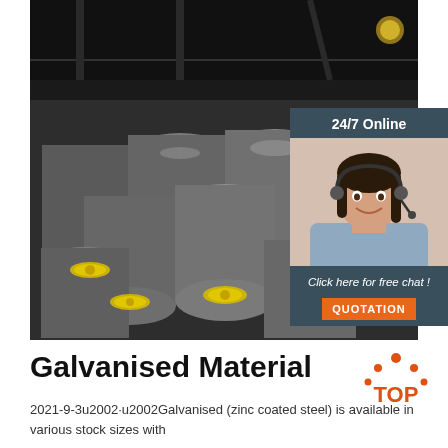[Figure (photo): Photo of steel round bars/rods stacked in an industrial warehouse, with yellow end caps, shot in an industrial setting]
[Figure (photo): 24/7 Online chat support - woman with headset smiling, sidebar panel with dark blue-grey background, orange QUOTATION button]
[Figure (logo): TOP logo with orange arc/dot design above the word TOP in orange]
Galvanised Material
2021-9-3u2002·u2002Galvanised (zinc coated steel) is available in various stock sizes with